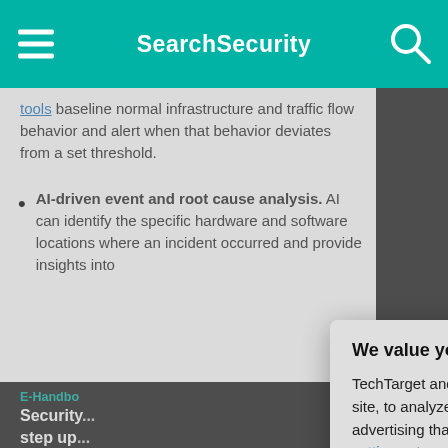SearchSecurity
tools baseline normal infrastructure and traffic flow behavior and alert when that behavior deviates from a set threshold.
AI-driven event and root cause analysis. AI can identify the specific hardware and software locations where an incident occurred and provide insights into
Predictive a... infrastru...
E-Handbook
Security... step up ... respons...
Article 2 of...
Up N...
How... secu... stra...
We value your privacy.

TechTarget and its partners employ cookies to improve your experience on our site, to analyze traffic and performance, and to serve personalized content and advertising that are relevant to your professional interests. You can manage your settings at any time. Please view our Privacy Policy for more information